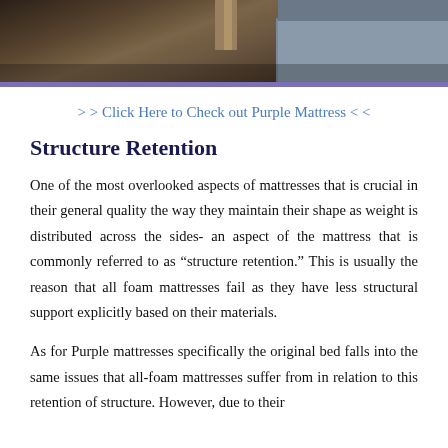[Figure (photo): Partial view of a bed frame leg and mattress edge on a carpeted floor, dark/moody tones]
> > Click Here to Check out Purple Mattress < <
Structure Retention
One of the most overlooked aspects of mattresses that is crucial in their general quality the way they maintain their shape as weight is distributed across the sides- an aspect of the mattress that is commonly referred to as “structure retention.” This is usually the reason that all foam mattresses fail as they have less structural support explicitly based on their materials.
As for Purple mattresses specifically the original bed falls into the same issues that all-foam mattresses suffer from in relation to this retention of structure. However, due to their